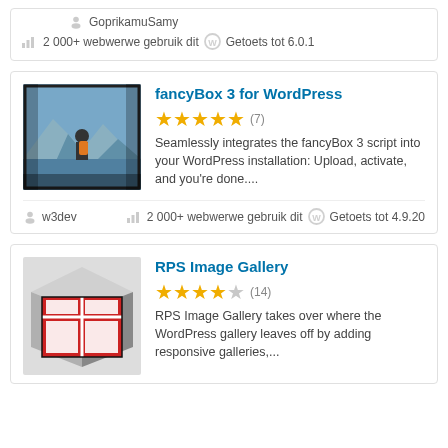GoprikamuSamy
2 000+ webwerwe gebruik dit  Getoets tot 6.0.1
[Figure (photo): Photo of a person with an orange backpack standing in front of a mountain landscape, displayed on a screen/monitor]
fancyBox 3 for WordPress
★★★★★ (7)
Seamlessly integrates the fancyBox 3 script into your WordPress installation: Upload, activate, and you're done....
w3dev
2 000+ webwerwe gebruik dit  Getoets tot 4.9.20
[Figure (illustration): 3D box illustration with red and white grid pattern on the face, black sides]
RPS Image Gallery
★★★★☆ (14)
RPS Image Gallery takes over where the WordPress gallery leaves off by adding responsive galleries,...